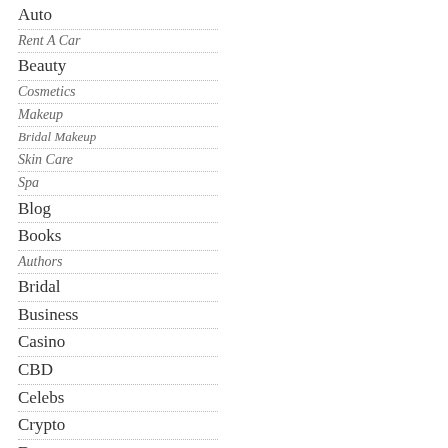Auto
Rent A Car
Beauty
Cosmetics
Makeup
Bridal Makeup
Skin Care
Spa
Blog
Books
Authors
Bridal
Business
Casino
CBD
Celebs
Crypto
Dps
Facebook Dps
Viber Dps
Dress Designs
Bridal Dresses
Casual Dresses
Male Dresses
Party Dresses
Prom Dresses
Shapewear